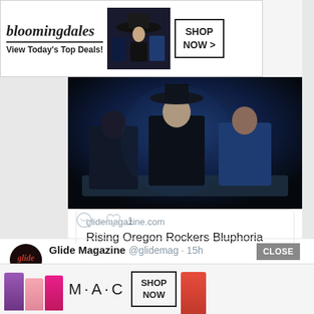[Figure (screenshot): Bloomingdale's advertisement banner with model in wide-brim hat and SHOP NOW button]
[Figure (photo): Band photo: three people seated on a couch in dark blue lighting, for Bluphoria article]
glidemagazine.com
Rising Oregon Rockers Bluphoria Defy Doomsayers With “Set Me U…
[Figure (screenshot): Twitter/social action icons: comment bubble and heart with count 1]
Glide Magazine @glidemag · 15h
From Fly Anakin to @YourOldDroog and Wrecking Crew, these are the hip-hop albums of 2022 you don't want to snooze on.
buff.ly/3A5TBKN
[Figure (screenshot): CLOSE button overlay on bottom-right]
[Figure (screenshot): M·A·C cosmetics advertisement banner with lipsticks and SHOP NOW button at bottom]